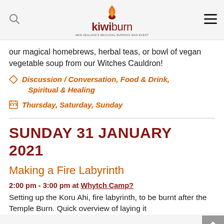kiwiburn
our magical homebrews, herbal teas, or bowl of vegan vegetable soup from our Witches Cauldron!
Discussion / Conversation, Food & Drink, Spiritual & Healing
Thursday, Saturday, Sunday
SUNDAY 31 JANUARY 2021
Making a Fire Labyrinth
2:00 pm - 3:00 pm at Whytch Camp?
Setting up the Koru Ahi, fire labyrinth, to be burnt after the Temple Burn. Quick overview of laying it